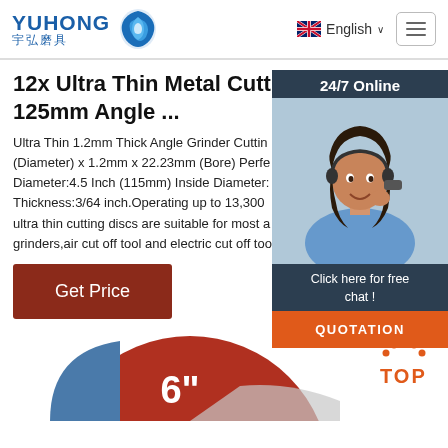YUHONG 宇弘磨具 | English
12x Ultra Thin Metal Cutting Discs 125mm Angle ...
Ultra Thin 1.2mm Thick Angle Grinder Cutting (Diameter) x 1.2mm x 22.23mm (Bore) Diameter:4.5 Inch (115mm) Inside Diameter: Thickness:3/64 inch.Operating up to 13,300 ultra thin cutting discs are suitable for most a grinders,air cut off tool and electric cut off too
[Figure (photo): Customer service agent / chat representative photo with 24/7 Online banner, Click here for free chat, and QUOTATION button]
[Figure (photo): Partial view of a metal cutting disc showing 6 inch size label in white text on red/blue disc]